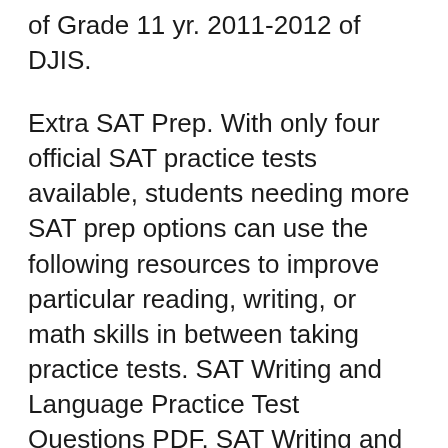of Grade 11 yr. 2011-2012 of DJIS.
Extra SAT Prep. With only four official SAT practice tests available, students needing more SAT prep options can use the following resources to improve particular reading, writing, or math skills in between taking practice tests. SAT Writing and Language Practice Test Questions PDF. SAT Writing and Language Practice Test Questions PDF. For the SAT Writing and Language section, вЂ¦
SAT Practice Test #1. Created 8/4/2015. 4. EXPRESSION OF IDEAS . The Expression of Ideas subscore is based on questions from the Writing and